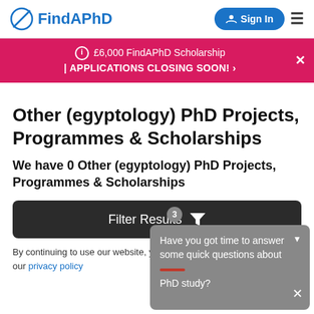FindAPhD — Sign In navigation bar
ℹ £6,000 FindAPhD Scholarship | APPLICATIONS CLOSING SOON! ›
Other (egyptology) PhD Projects, Programmes & Scholarships
We have 0 Other (egyptology) PhD Projects, Programmes & Scholarships
Filter Results [3]
Have you got time to answer some quick questions about PhD study?
By continuing to use our website, you agree to our privacy policy